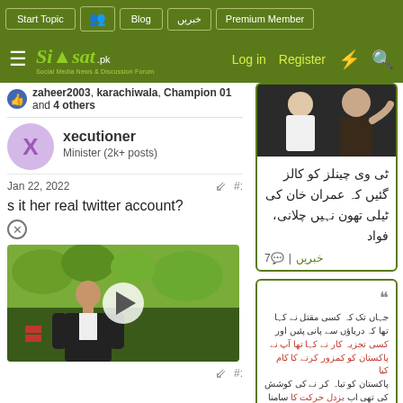Siasat.pk - Social Media News & Discussion Forum navigation bar with: Start Topic, Blog, خبریں, Premium Member, Log in, Register
zaheer2003, karachiwala, Champion 01 and 4 others
xecutioner
Minister (2k+ posts)
Jan 22, 2022
s it her real twitter account?
[Figure (photo): Video thumbnail showing a man in a dark suit speaking outdoors with green foliage in background, with a white play button overlay]
[Figure (photo): Card with photo of two men, one in white and one in dark clothing, with Urdu text about TV channels and Imran Khan, comment count 7, tagged خبریں]
[Figure (photo): Second card with a quote icon and Urdu text in black and red]